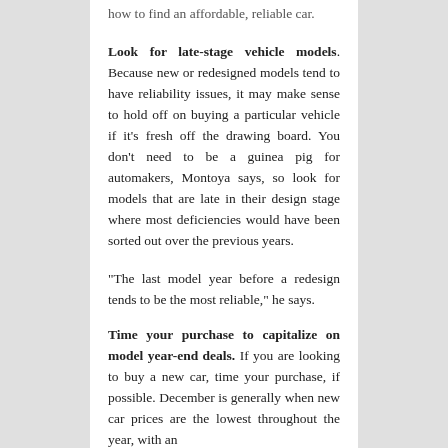how to find an affordable, reliable car.
Look for late-stage vehicle models. Because new or redesigned models tend to have reliability issues, it may make sense to hold off on buying a particular vehicle if it’s fresh off the drawing board. You don’t need to be a guinea pig for automakers, Montoya says, so look for models that are late in their design stage where most deficiencies would have been sorted out over the previous years.
“The last model year before a redesign tends to be the most reliable,” he says.
Time your purchase to capitalize on model year-end deals. If you are looking to buy a new car, time your purchase, if possible. December is generally when new car prices are the lowest throughout the year, with an